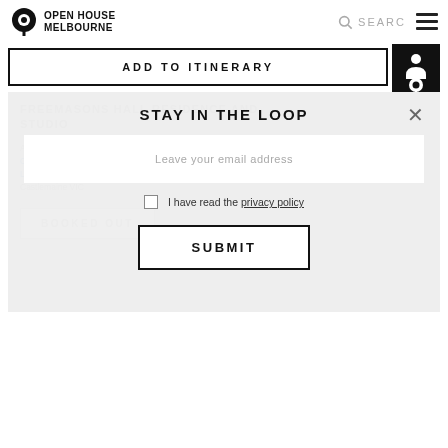Open House Melbourne
ADD TO ITINERARY
FREEMASONS HALL RESIDENCE AND STUDIO
Architect: Christian (Chapel 1865); Castlemaine Girls College 1885, Masonic Hall 1925, mixed use conversion Logan Studio 2019
Castlemaine VIC
BOOKED OUT
STAY IN THE LOOP
Leave your email address
I have read the privacy policy
SUBMIT